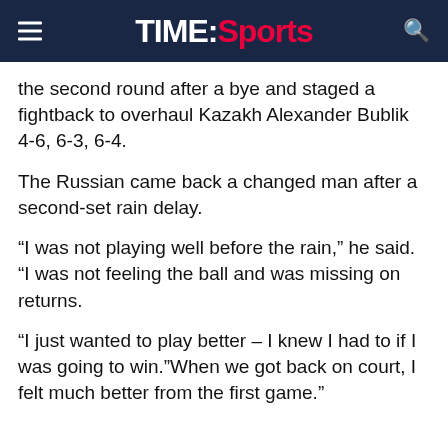TIME:Sports
the second round after a bye and staged a fightback to overhaul Kazakh Alexander Bublik 4-6, 6-3, 6-4.
The Russian came back a changed man after a second-set rain delay.
“I was not playing well before the rain,” he said. “I was not feeling the ball and was missing on returns.
“I just wanted to play better – I knew I had to if I was going to win.”When we got back on court, I felt much better from the first game.”
'This is gonna be on Tennis TV, bro!'